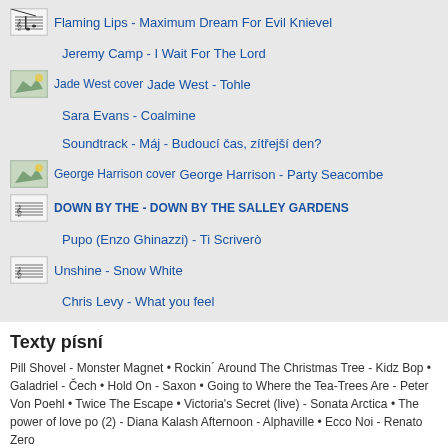Flaming Lips - Maximum Dream For Evil Knievel
Jeremy Camp - I Wait For The Lord
Jade West - Tohle
Sara Evans - Coalmine
Soundtrack - Máj - Budoucí čas, zítřejší den?
George Harrison - Party Seacombe
DOWN BY THE - DOWN BY THE SALLEY GARDENS
Pupo (Enzo Ghinazzi) - Ti Scriverò
Unshine - Snow White
Chris Levy - What you feel
Texty písní
Pill Shovel - Monster Magnet • Rockin´ Around The Christmas Tree - Kidz Bop • Galadriel - Čech • Hold On - Saxon • Going to Where the Tea-Trees Are - Peter Von Poehl • Twice The Escape • Victoria's Secret (live) - Sonata Arctica • The power of love po (2) - Diana Kalash Afternoon - Alphaville • Ecco Noi - Renato Zero
© Youradio | Hudební playlisty | Podcasty | Reklama | Pravidla webu